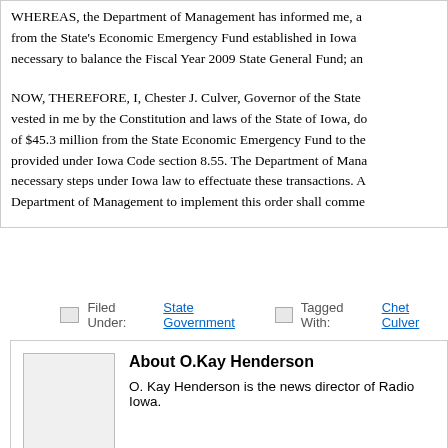WHEREAS, the Department of Management has informed me, as from the State's Economic Emergency Fund established in Iowa necessary to balance the Fiscal Year 2009 State General Fund; an NOW, THEREFORE, I, Chester J. Culver, Governor of the State vested in me by the Constitution and laws of the State of Iowa, do of $45.3 million from the State Economic Emergency Fund to the provided under Iowa Code section 8.55. The Department of Mana necessary steps under Iowa law to effectuate these transactions. A Department of Management to implement this order shall comme
Filed Under: State Government  Tagged With: Chet Culver
About O.Kay Henderson
O. Kay Henderson is the news director of Radio Iowa.